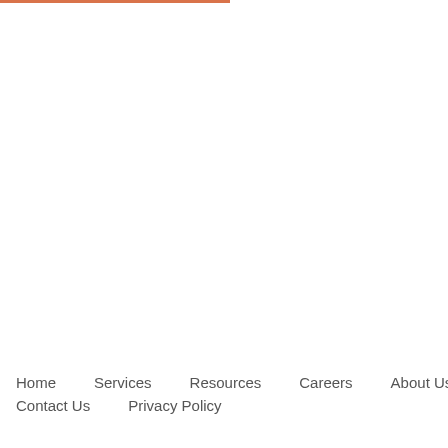Home   Services   Resources   Careers   About Us   Contact Us   Privacy Policy